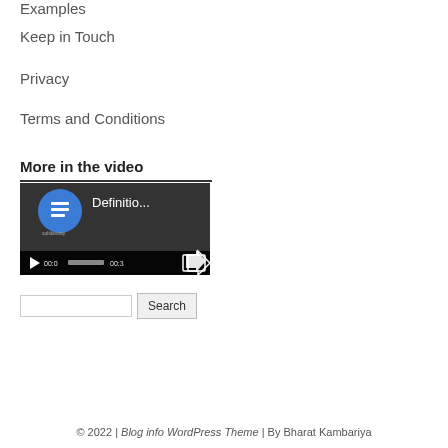Examples
Keep in Touch
Privacy
Terms and Conditions
More in the video
[Figure (screenshot): Video thumbnail showing a document icon with blue circle, text 'Definitio...' and video playback controls showing 00:0 and 00:3 timestamps]
[Figure (other): Search input field and Search button]
© 2022 | Blog info WordPress Theme | By Bharat Kambariya